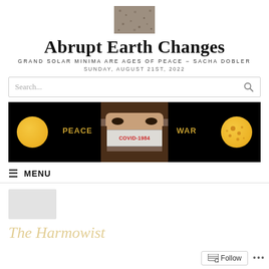[Figure (photo): Small thumbnail image of rocky/sandy surface, centered at top of page]
Abrupt Earth Changes
GRAND SOLAR MINIMA ARE AGES OF PEACE – SACHA DOBLER
SUNDAY, AUGUST 21ST, 2022
[Figure (screenshot): Website search bar with placeholder text 'Search...' and a search icon]
[Figure (infographic): Black banner strip with three panels: left panel shows a smooth yellow sun circle and the word PEACE in gold; center panel shows a woman wearing a face mask with 'COVID-1984' text; right panel shows the word WAR in gold and a sunspot-covered yellow sun circle]
MENU
[Figure (photo): Partially visible gray placeholder image]
The Harmowist (partial, cut off at bottom)
Follow